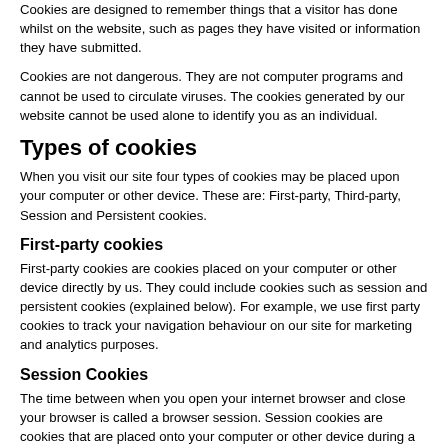Cookies are designed to remember things that a visitor has done whilst on the website, such as pages they have visited or information they have submitted.
Cookies are not dangerous. They are not computer programs and cannot be used to circulate viruses. The cookies generated by our website cannot be used alone to identify you as an individual.
Types of cookies
When you visit our site four types of cookies may be placed upon your computer or other device. These are: First-party, Third-party, Session and Persistent cookies.
First-party cookies
First-party cookies are cookies placed on your computer or other device directly by us. They could include cookies such as session and persistent cookies (explained below). For example, we use first party cookies to track your navigation behaviour on our site for marketing and analytics purposes.
Session Cookies
The time between when you open your internet browser and close your browser is called a browser session. Session cookies are cookies that are placed onto your computer or other device during a browser session, but which expire and are normally deleted at